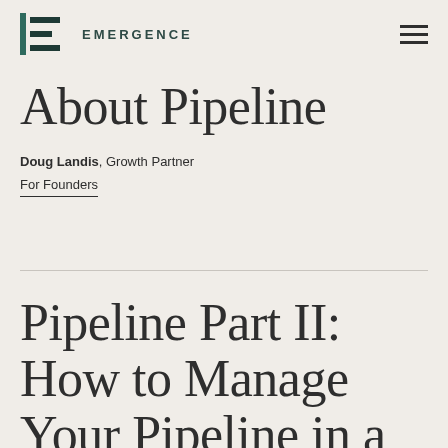EMERGENCE
About Pipeline
Doug Landis, Growth Partner
For Founders
Pipeline Part II: How to Manage Your Pipeline in a Downturn